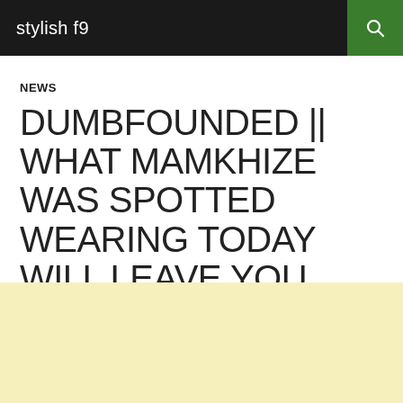stylish f9
NEWS
DUMBFOUNDED || WHAT MAMKHIZE WAS SPOTTED WEARING TODAY WILL LEAVE YOU AMAZED
MAY 22, 2022  STYLISHF9